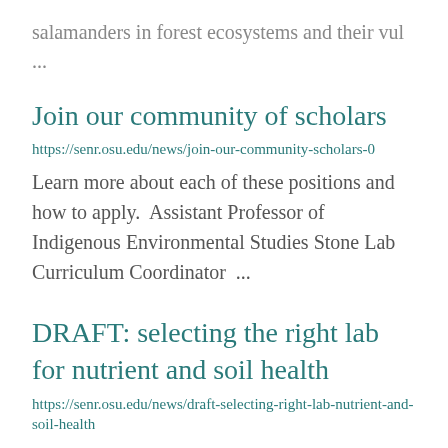salamanders in forest ecosystems and their vul ...
Join our community of scholars
https://senr.osu.edu/news/join-our-community-scholars-0
Learn more about each of these positions and how to apply.  Assistant Professor of Indigenous Environmental Studies Stone Lab Curriculum Coordinator  ...
DRAFT: selecting the right lab for nutrient and soil health
https://senr.osu.edu/news/draft-selecting-right-lab-nutrient-and-soil-health